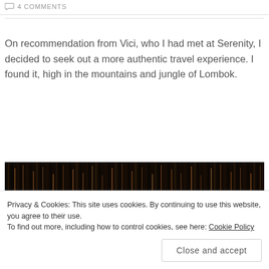4 COMMENTS
On recommendation from Vici, who I had met at Serenity, I decided to seek out a more authentic travel experience. I found it, high in the mountains and jungle of Lombok.
[Figure (photo): Dark forest or jungle image showing dense vertical streaks of trees with light filtering through, predominantly dark brown and black tones]
Privacy & Cookies: This site uses cookies. By continuing to use this website, you agree to their use.
To find out more, including how to control cookies, see here: Cookie Policy
Close and accept